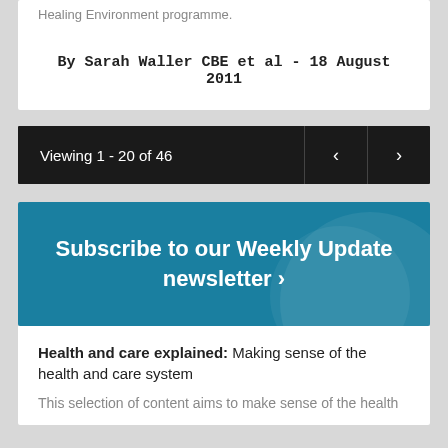Healing Environment programme.
By Sarah Waller CBE et al - 18 August 2011
Viewing 1 - 20 of 46
[Figure (screenshot): Pagination navigation bar with left and right arrow buttons on dark background]
Subscribe to our Weekly Update newsletter ›
Health and care explained: Making sense of the health and care system
This selection of content aims to make sense of the health